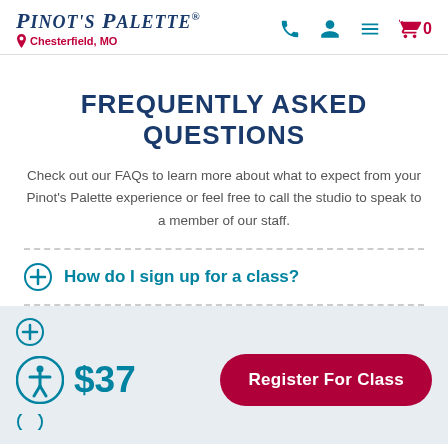Pinot's Palette – Chesterfield, MO
FREQUENTLY ASKED QUESTIONS
Check out our FAQs to learn more about what to expect from your Pinot's Palette experience or feel free to call the studio to speak to a member of our staff.
How do I sign up for a class?
$37
Register For Class